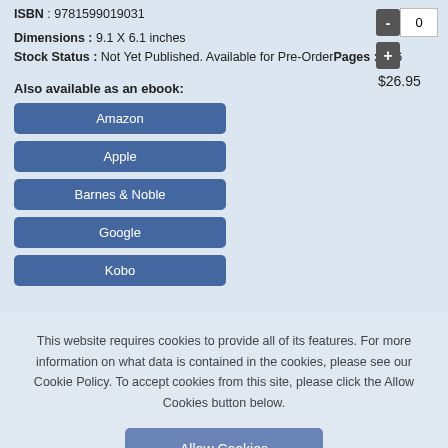ISBN : 9781599019031
Dimensions : 9.1 X 6.1 inches
Stock Status : Not Yet Published. Available for Pre-Order
Pages : 256
Also available as an ebook:
Amazon
Apple
Barnes & Noble
Google
Kobo
- 0
+
$26.95
This website requires cookies to provide all of its features. For more information on what data is contained in the cookies, please see our Cookie Policy. To accept cookies from this site, please click the Allow Cookies button below.
Allow Cookies